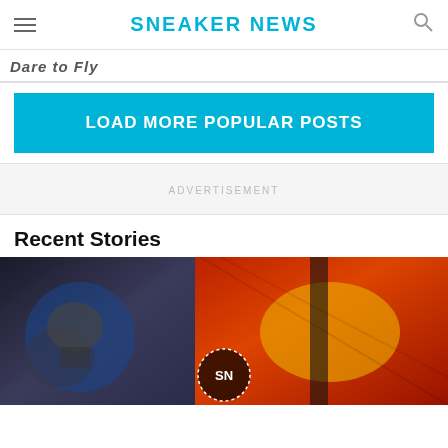SNEAKER NEWS
Dare to Fly
LOAD MORE POPULAR POSTS
ADVERTISEMENT
Recent Stories
[Figure (photo): Hero image showing comic book art on the left side and colorful sneaker/jersey on the right side with Sneaker News logo overlay in center bottom]